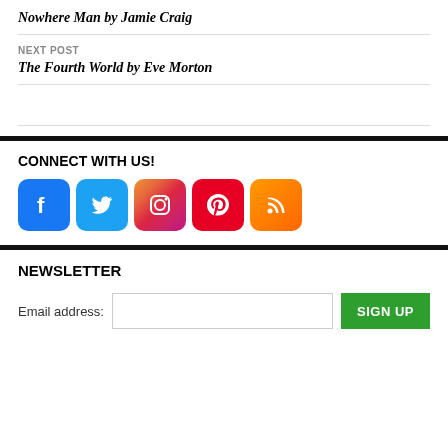Nowhere Man by Jamie Craig
NEXT POST
The Fourth World by Eve Morton
CONNECT WITH US!
[Figure (illustration): Social media icons: Facebook, Twitter, Instagram, Pinterest, RSS]
NEWSLETTER
Email address: [input field] SIGN UP